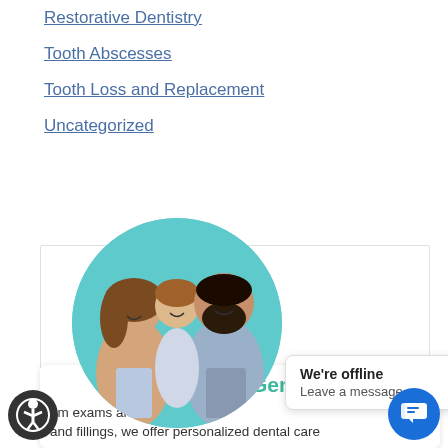Restorative Dentistry
Tooth Abscesses
Tooth Loss and Replacement
Uncategorized
[Figure (photo): Circular photo of a family (mother, father, and young child) smiling, on a teal background]
General Dentistry
We're offline
Leave a message
om exams and fillings, we offer personalized dental care